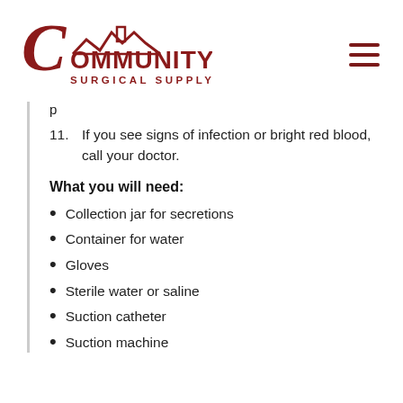[Figure (logo): Community Surgical Supply logo with stylized house roofline and script/block lettering in dark red]
p
11. If you see signs of infection or bright red blood, call your doctor.
What you will need:
Collection jar for secretions
Container for water
Gloves
Sterile water or saline
Suction catheter
Suction machine